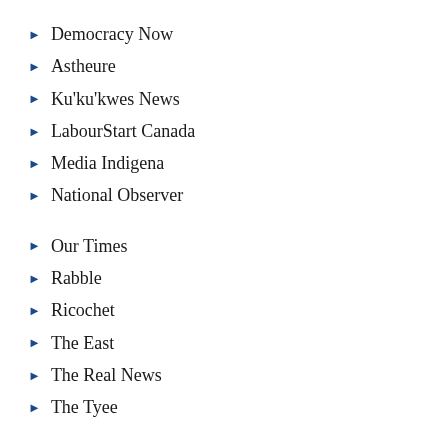Democracy Now
Astheure
Ku'ku'kwes News
LabourStart Canada
Media Indigena
National Observer
Our Times
Rabble
Ricochet
The East
The Real News
The Tyee